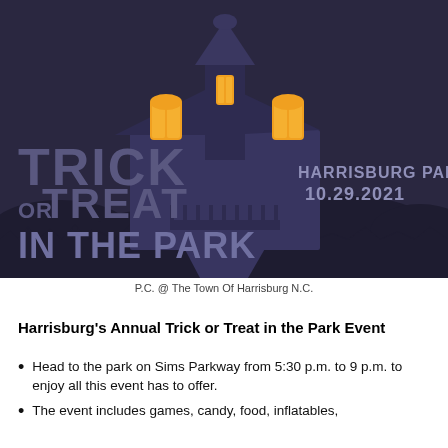[Figure (illustration): Halloween-themed poster showing a haunted house with glowing orange windows against a dark purple/navy sky. Large stylized text reads 'TRICK OR TREAT IN THE PARK' on the left side and 'HARRISBURG PARK 10.29.2021' on the right side.]
P.C. @ The Town Of Harrisburg N.C.
Harrisburg's Annual Trick or Treat in the Park Event
Head to the park on Sims Parkway from 5:30 p.m. to 9 p.m. to enjoy all this event has to offer.
The event includes games, candy, food, inflatables,